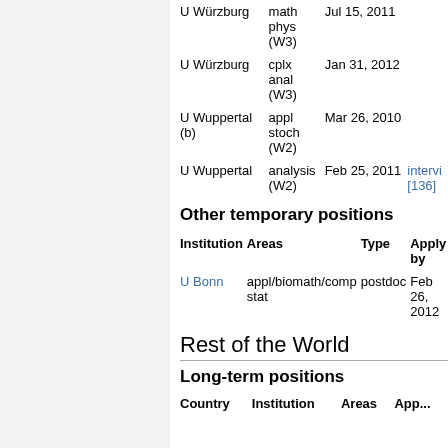| Institution | Areas | Date | Notes |
| --- | --- | --- | --- |
| U Würzburg | math phys (W3) | Jul 15, 2011 |  |
| U Würzburg | cplx anal (W3) | Jan 31, 2012 |  |
| U Wuppertal (b) | appl stoch (W2) | Mar 26, 2010 |  |
| U Wuppertal | analysis (W2) | Feb 25, 2011 | intervi... [136] |
Other temporary positions
| Institution | Areas | Type | Apply by |
| --- | --- | --- | --- |
| U Bonn | appl/biomath/comp stat | postdoc | Feb 26, 2012 |
Rest of the World
Long-term positions
| Country | Institution | Areas | App... |
| --- | --- | --- | --- |